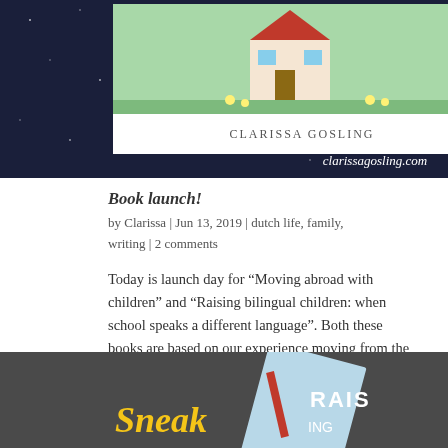[Figure (photo): Book cover image for Clarissa Gosling books shown against a dark starry background, with text 'CLARISSA GOSLING' and website 'clarissagosling.com']
Book launch!
by Clarissa | Jun 13, 2019 | dutch life, family, writing | 2 comments
Today is launch day for “Moving abroad with children” and “Raising bilingual children: when school speaks a different language”. Both these books are based on our experience moving from the UK and now living in the Netherlands. Writing them has…
[Figure (photo): Partial view of book covers on a dark grey background, showing colorful book spines and partial text including 'Sneak' in yellow and 'RAIS' in white letters]